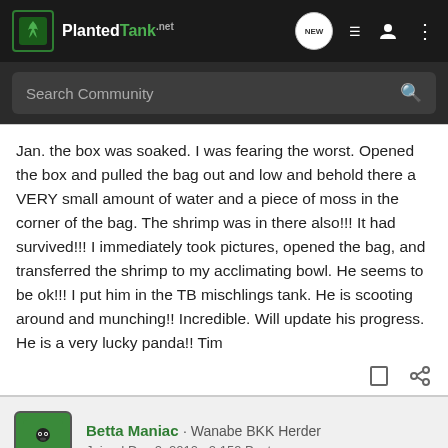PlantedTank - NEW
Jan. the box was soaked. I was fearing the worst. Opened the box and pulled the bag out and low and behold there a VERY small amount of water and a piece of moss in the corner of the bag. The shrimp was in there also!!! It had survived!!! I immediately took pictures, opened the bag, and transferred the shrimp to my acclimating bowl. He seems to be ok!!! I put him in the TB mischlings tank. He is scooting around and munching!! Incredible. Will update his progress. He is a very lucky panda!! Tim
Betta Maniac · Wanabe BKK Herder
Joined Dec 2, 2010 · 2,159 Posts